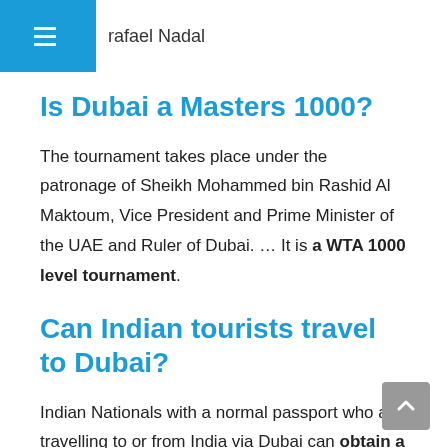Rafael Nadal
Is Dubai a Masters 1000?
The tournament takes place under the patronage of Sheikh Mohammed bin Rashid Al Maktoum, Vice President and Prime Minister of the UAE and Ruler of Dubai. … It is a WTA 1000 level tournament.
Can Indian tourists travel to Dubai?
Indian Nationals with a normal passport who are travelling to or from India via Dubai can obtain a